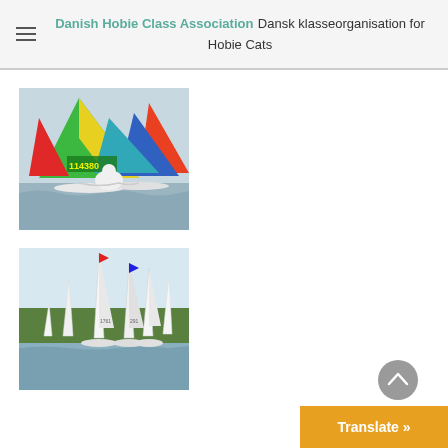Danish Hobie Class Association Dansk klasseorganisation for Hobie Cats
[Figure (photo): Colorful Hobie Cat catamarans with bright sails (green, yellow, red, orange, blue) racing on water. Sail number 114380 visible.]
[Figure (photo): White-hulled sailing boats with tall masts racing on water with green treeline in background and light blue sky.]